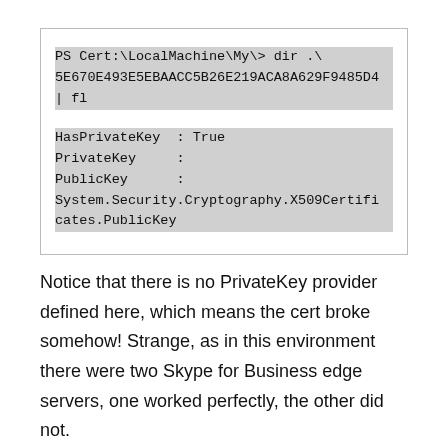[Figure (screenshot): PowerShell terminal screenshot showing: 'PS Cert:\LocalMachine\My\> dir .\5E670E493E5EBAACC5B26E219ACA8A629F9485D4 | fl' followed by output: HasPrivateKey : True, PrivateKey :, PublicKey : System.Security.Cryptography.X509Certificates.PublicKey]
Notice that there is no PrivateKey provider defined here, which means the cert broke somehow! Strange, as in this environment there were two Skype for Business edge servers, one worked perfectly, the other did not.